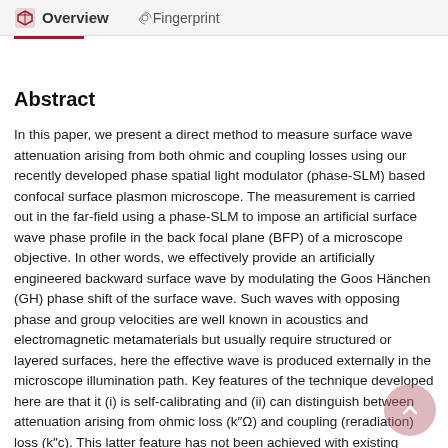Overview   Fingerprint
Abstract
In this paper, we present a direct method to measure surface wave attenuation arising from both ohmic and coupling losses using our recently developed phase spatial light modulator (phase-SLM) based confocal surface plasmon microscope. The measurement is carried out in the far-field using a phase-SLM to impose an artificial surface wave phase profile in the back focal plane (BFP) of a microscope objective. In other words, we effectively provide an artificially engineered backward surface wave by modulating the Goos Hänchen (GH) phase shift of the surface wave. Such waves with opposing phase and group velocities are well known in acoustics and electromagnetic metamaterials but usually require structured or layered surfaces, here the effective wave is produced externally in the microscope illumination path. Key features of the technique developed here are that it (i) is self-calibrating and (ii) can distinguish between attenuation arising from ohmic loss (k"Ω) and coupling (reradiation) loss (k"c). This latter feature has not been achieved with existing methods. In addition to providing a unique measurement the